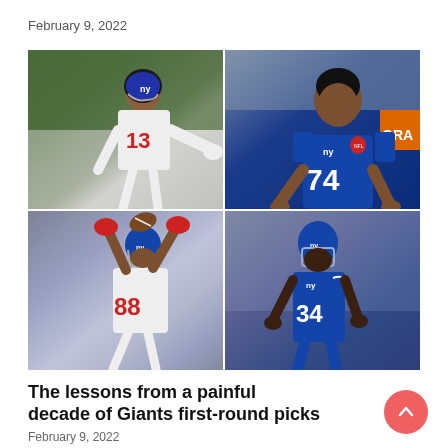February 9, 2022
[Figure (photo): Four-panel photo collage of New York Giants NFL players: top-left shows a white-uniformed receiver (#13) gesturing on field; top-right shows a blue-uniformed offensive lineman (#74) sitting on the bench; bottom-left shows a white-uniformed receiver (#88) making a catch; bottom-right shows a blue-uniformed cornerback (#34) standing on the field.]
The lessons from a painful decade of Giants first-round picks
February 9, 2022